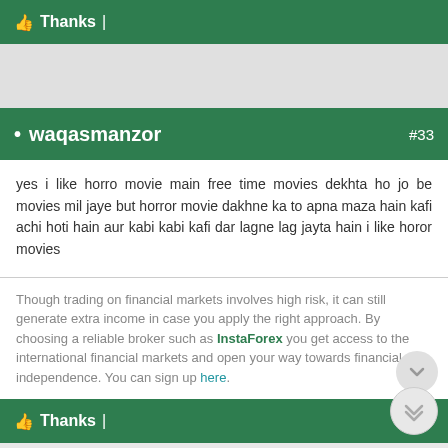👍 Thanks |
• waqasmanzor  #33
yes i like horro movie main free time movies dekhta ho jo be movies mil jaye but horror movie dakhne ka to apna maza hain kafi achi hoti hain aur kabi kabi kafi dar lagne lag jayta hain i like horor movies
Though trading on financial markets involves high risk, it can still generate extra income in case you apply the right approach. By choosing a reliable broker such as InstaForex you get access to the international financial markets and open your way towards financial independence. You can sign up here.
👍 Thanks |